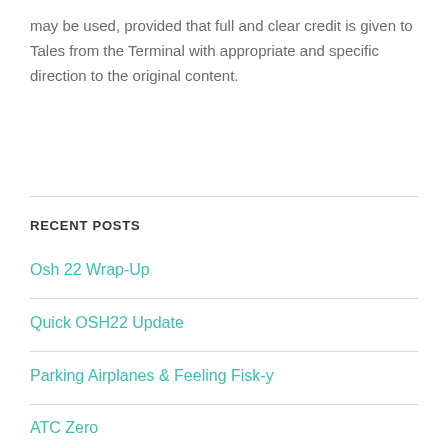may be used, provided that full and clear credit is given to Tales from the Terminal with appropriate and specific direction to the original content.
RECENT POSTS
Osh 22 Wrap-Up
Quick OSH22 Update
Parking Airplanes & Feeling Fisk-y
ATC Zero
A World Away Close to Home